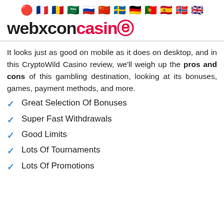🔴 🇫🇷 🇷🇴 🇸🇦 🇷🇺 🇨🇳 🇸🇪 🇩🇪 🇵🇹 🇪🇸 🇳🇴 🇬🇧
webxconcasino
It looks just as good on mobile as it does on desktop, and in this CryptoWild Casino review, we'll weigh up the pros and cons of this gambling destination, looking at its bonuses, games, payment methods, and more.
Great Selection Of Bonuses
Super Fast Withdrawals
Good Limits
Lots Of Tournaments
Lots Of Promotions